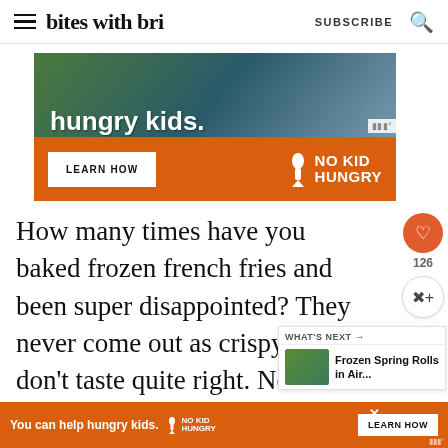bites with bri  SUBSCRIBE
[Figure (infographic): No Kid Hungry advertisement banner with 'hungry kids.' text, LEARN HOW button, and No Kid Hungry logo on orange background]
How many times have you baked frozen french fries and been super disappointed? They never come out as crispy or just don't taste quite right. Not to mention long they take in the oven.
[Figure (infographic): No Kid Hungry bottom advertisement banner: 'You can help hungry kids.' with LEARN HOW button on orange background]